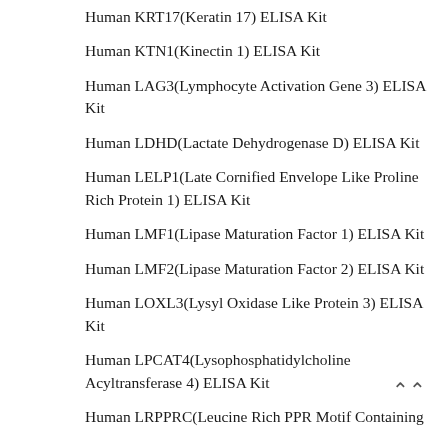Human KRT17(Keratin 17) ELISA Kit
Human KTN1(Kinectin 1) ELISA Kit
Human LAG3(Lymphocyte Activation Gene 3) ELISA Kit
Human LDHD(Lactate Dehydrogenase D) ELISA Kit
Human LELP1(Late Cornified Envelope Like Proline Rich Protein 1) ELISA Kit
Human LMF1(Lipase Maturation Factor 1) ELISA Kit
Human LMF2(Lipase Maturation Factor 2) ELISA Kit
Human LOXL3(Lysyl Oxidase Like Protein 3) ELISA Kit
Human LPCAT4(Lysophosphatidylcholine Acyltransferase 4) ELISA Kit
Human LRPPRC(Leucine Rich PPR Motif Containing